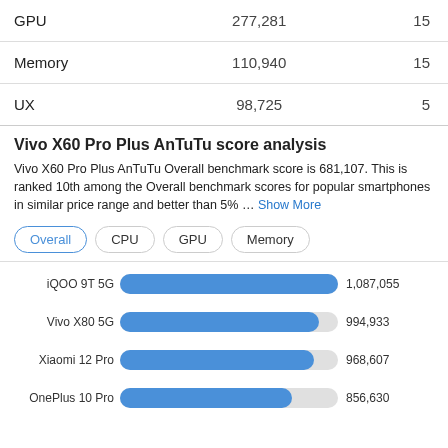|  |  |  |
| --- | --- | --- |
| GPU | 277,281 | 15 |
| Memory | 110,940 | 15 |
| UX | 98,725 | 5 |
Vivo X60 Pro Plus AnTuTu score analysis
Vivo X60 Pro Plus AnTuTu Overall benchmark score is 681,107. This is ranked 10th among the Overall benchmark scores for popular smartphones in similar price range and better than 5% … Show More
[Figure (bar-chart): AnTuTu Overall Benchmark Comparison]